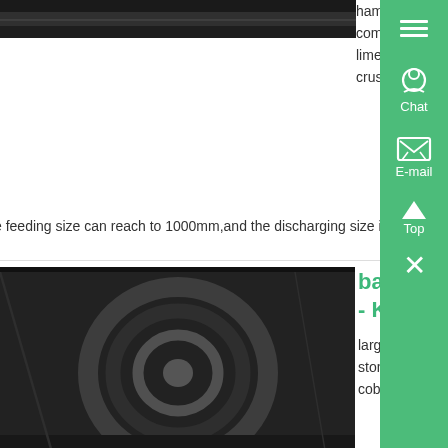[Figure (photo): Partial view of industrial machinery at top of page]
hammer mill This series is suitable for crushing materials with compression strength not more than 200MPalike limestone,gypsum,coal and sand shale,etc And it has big crushing feeding size can reach to 1000mm,and the discharging size is less ....
[Figure (photo): Industrial ball mill machine in a factory setting]
ball mill machine in china - Know More
large rotary rock crusher Por le Rock Crusher Canada small type of crusher making machine driven stone crusher for Mining Industry Consumables crusher jizan saudi arabia cmb rs150 cone crusher cobalt copper separation hammer crusher road batch ball mill manufacturer in bangalore concrete crusher ....
[Figure (photo): Worker in yellow hard hat in warehouse/industrial setting]
Crushing Plants For Sale MyLittleSalesman - Know More
Nov 25, 2021 0183 32 Whether you need a used